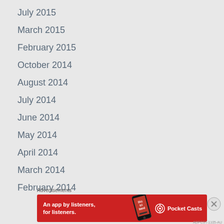July 2015
March 2015
February 2015
October 2014
August 2014
July 2014
June 2014
May 2014
April 2014
March 2014
February 2014
Advertisements
[Figure (other): Advertisement banner for Pocket Casts app: red background, text 'An app by listeners, for listeners.' with Pocket Casts logo and phone image]